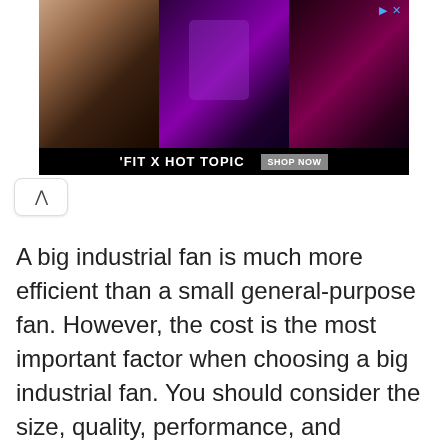[Figure (photo): Advertisement banner for 'FIT X HOT TOPIC' showing three women in dark/alternative fashion style against dark backgrounds, with a 'SHOP NOW' button on a black bar at the bottom. Has a D> X close/ad indicator in the top right.]
A big industrial fan is much more efficient than a small general-purpose fan. However, the cost is the most important factor when choosing a big industrial fan. You should consider the size, quality, performance, and maintenance of the fan before you buy it. You should consider the size and price of the fan before purchasing it. You need to consider the type of operation and the